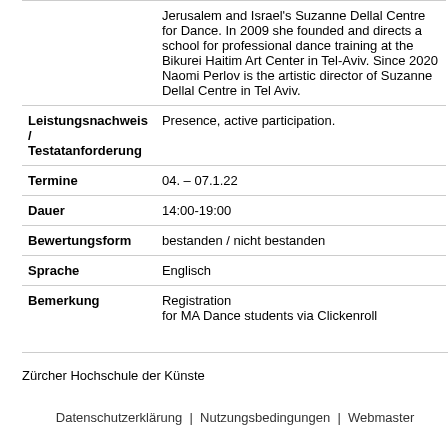|  | Jerusalem and Israel's Suzanne Dellal Centre for Dance. In 2009 she founded and directs a school for professional dance training at the Bikurei Haitim Art Center in Tel-Aviv. Since 2020 Naomi Perlov is the artistic director of Suzanne Dellal Centre in Tel Aviv. |
| Leistungsnachweis / Testatanforderung | Presence, active participation. |
| Termine | 04. – 07.1.22 |
| Dauer | 14:00-19:00 |
| Bewertungsform | bestanden / nicht bestanden |
| Sprache | Englisch |
| Bemerkung | Registration
for MA Dance students via Clickenroll |
Zürcher Hochschule der Künste
Datenschutzerklärung | Nutzungsbedingungen | Webmaster